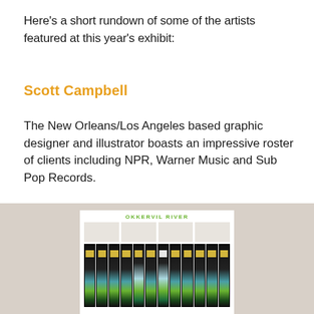Here's a short rundown of some of the artists featured at this year's exhibit:
Scott Campbell
The New Orleans/Los Angeles based graphic designer and illustrator boasts an impressive roster of clients including NPR, Warner Music and Sub Pop Records.
[Figure (photo): Photograph of an Okkervil River poster design by Scott Campbell, showing a white poster with green text reading 'OKKERVIL RIVER' at top, columns of small text below, and a row of VHS tapes arranged as a landscape scene with mountains and water, displayed against a gray background.]